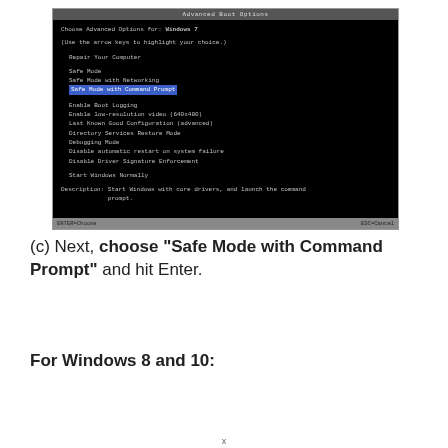[Figure (screenshot): Windows 7 Advanced Boot Options screen showing options including Safe Mode, Safe Mode with Networking, and Safe Mode with Command Prompt highlighted. Status bar shows ENTER=Choose and ESC=Cancel.]
(c) Next, choose "Safe Mode with Command Prompt" and hit Enter.
For Windows 8 and 10:
x